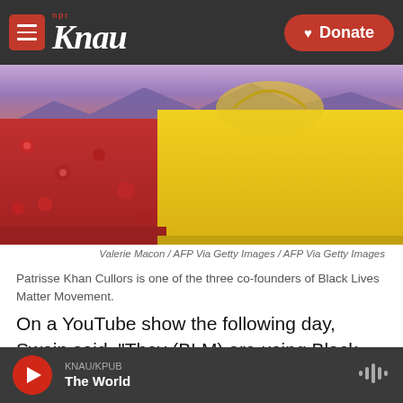KNAU NPR / Donate
[Figure (photo): Close-up photo showing colorful fabric — red patterned fabric on the left and bright yellow fabric on the right, along with mountainous background visible at top]
Valerie Macon / AFP Via Getty Images / AFP Via Getty Images
Patrisse Khan Cullors is one of the three co-founders of Black Lives Matter Movement.
On a YouTube show the following day, Swain said, "They (BLM) are using Black people to advance a Marxist agenda."
During her Twitter video post, Candace Owens
KNAU/KPUB The World